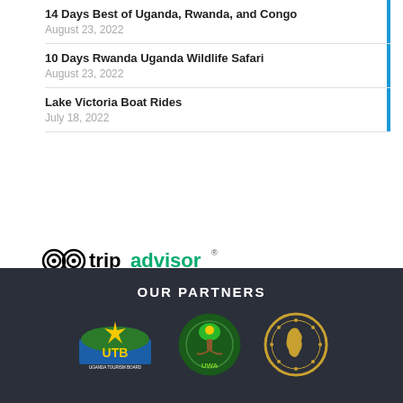14 Days Best of Uganda, Rwanda, and Congo
August 23, 2022
10 Days Rwanda Uganda Wildlife Safari
August 23, 2022
Lake Victoria Boat Rides
July 18, 2022
[Figure (logo): TripAdvisor logo in black and green]
OUR PARTNERS
[Figure (logo): UTB Uganda Tourism Board logo]
[Figure (logo): UWA Uganda Wildlife Authority logo]
[Figure (logo): Association of Uganda Tour Operators logo]